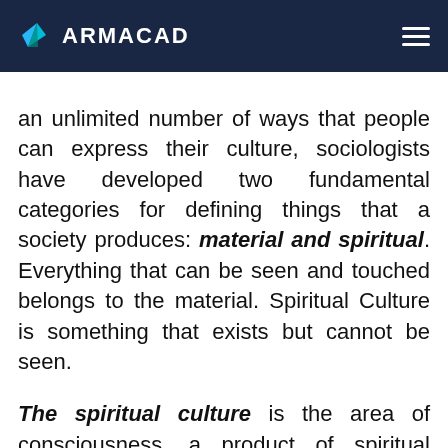ARMACAD
an unlimited number of ways that people can express their culture, sociologists have developed two fundamental categories for defining things that a society produces: material and spiritual. Everything that can be seen and touched belongs to the material. Spiritual Culture is something that exists but cannot be seen.
The spiritual culture is the area of consciousness, a product of spiritual production. It includes the entire set of